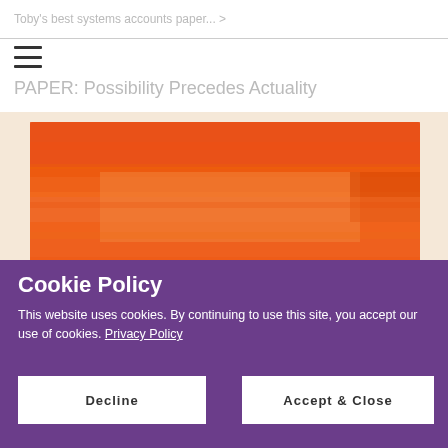Toby's best systems accounts paper ...
PAPER: Possibility Precedes Actuality
[Figure (photo): Abstract orange/red brushstroke painting on a light background]
Cookie Policy
This website uses cookies. By continuing to use this site, you accept our use of cookies. Privacy Policy
Decline
Accept & Close